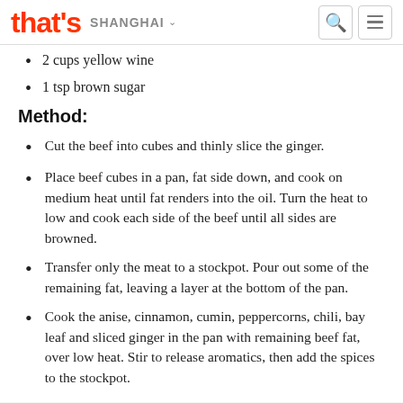that's SHANGHAI
2 cups yellow wine
1 tsp brown sugar
Method:
Cut the beef into cubes and thinly slice the ginger.
Place beef cubes in a pan, fat side down, and cook on medium heat until fat renders into the oil. Turn the heat to low and cook each side of the beef until all sides are browned.
Transfer only the meat to a stockpot. Pour out some of the remaining fat, leaving a layer at the bottom of the pan.
Cook the anise, cinnamon, cumin, peppercorns, chili, bay leaf and sliced ginger in the pan with remaining beef fat, over low heat. Stir to release aromatics, then add the spices to the stockpot.
Add the vinegar, soy sauces and wine to the stockpot.